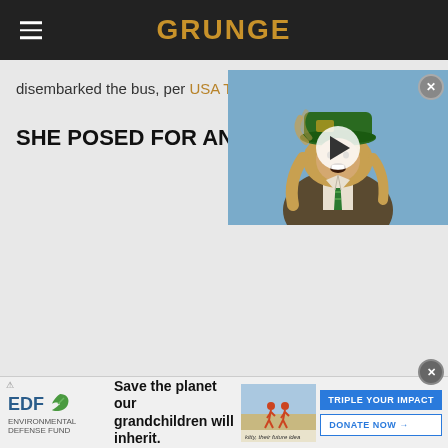GRUNGE
disembarked the bus, per USA Today
SHE POSED FOR ANDY W
[Figure (screenshot): Video overlay thumbnail showing a person wearing a green hat, long hair, suit and striped tie with a play button overlay]
[Figure (infographic): EDF advertisement banner: Save the planet our grandchildren will inherit. Triple Your Impact. Donate Now.]